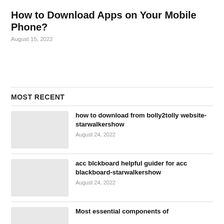How to Download Apps on Your Mobile Phone?
August 15, 2022
MOST RECENT
how to download from bolly2tolly website-starwalkershow
August 24, 2022
acc blckboard helpful guider for acc blackboard-starwalkershow
August 24, 2022
Most essential components of